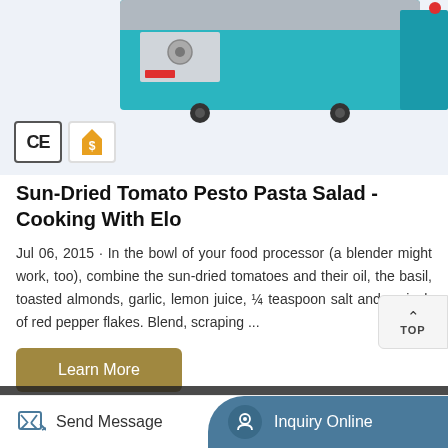[Figure (photo): Top portion of a teal/turquoise industrial food processing machine on a light blue-gray background, with CE certification badge and gold supplier badge visible at bottom left.]
Sun-Dried Tomato Pesto Pasta Salad - Cooking With Elo
Jul 06, 2015 · In the bowl of your food processor (a blender might work, too), combine the sun-dried tomatoes and their oil, the basil, toasted almonds, garlic, lemon juice, ¼ teaspoon salt and a pinch of red pepper flakes. Blend, scraping ...
Learn More
Send Message
Inquiry Online